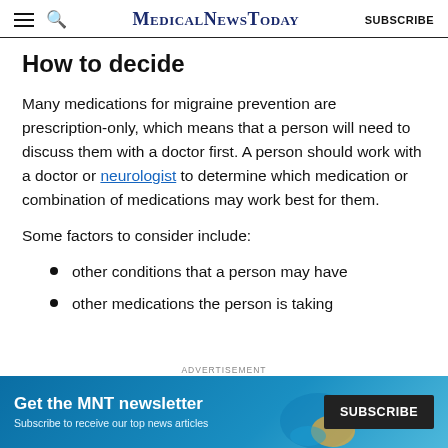MedicalNewsToday SUBSCRIBE
How to decide
Many medications for migraine prevention are prescription-only, which means that a person will need to discuss them with a doctor first. A person should work with a doctor or neurologist to determine which medication or combination of medications may work best for them.
Some factors to consider include:
other conditions that a person may have
other medications the person is taking
[Figure (screenshot): Advertisement banner: Get the MNT newsletter - Subscribe to receive our top news articles - with a SUBSCRIBE button on teal/blue background]